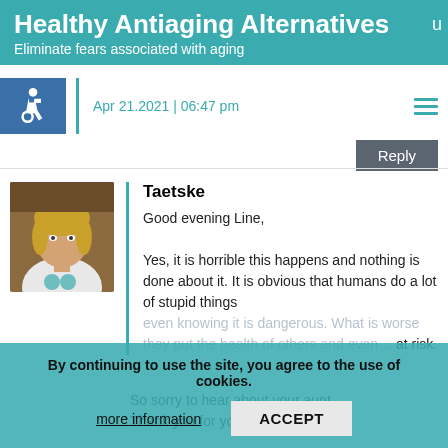Healthy Antiaging Alternatives
Eliminate fears associated with aging
Apr 21.2021 | 06:47 pm
Reply
Taetske
Good evening Line,

Yes, it is horrible this happens and nothing is done about it. It is obvious that humans do a lot of stupid things even knowing it is dangerous. What is worse they put the health of others and even... at risk.

So sorry to hear about your aunt.
Thank you for your comment.
By continuing to use the site, you agree to the use of cookies.
more information
ACCEPT